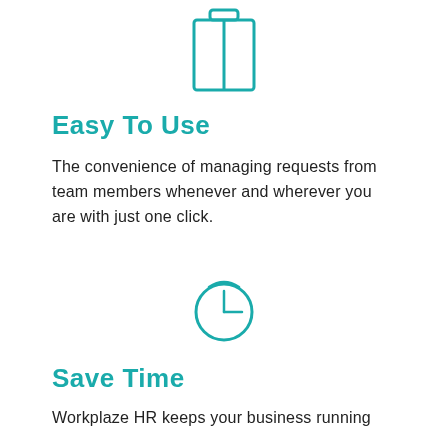[Figure (illustration): Teal outline icon of a briefcase or document folder with two panels, centered at top of page]
Easy To Use
The convenience of managing requests from team members whenever and wherever you are with just one click.
[Figure (illustration): Teal outline clock icon with hands pointing to approximately 3 o'clock, centered]
Save Time
Workplaze HR keeps your business running